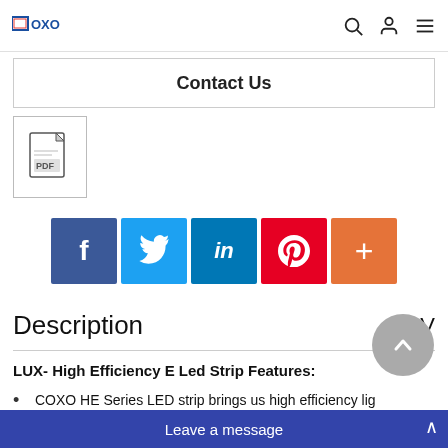COXO [logo] [search icon] [user icon] [menu icon]
Contact Us
[Figure (other): PDF file download icon button]
[Figure (other): Social share buttons: Facebook, Twitter, LinkedIn, Pinterest, Add]
Description V
LUX- High Efficiency E Led Strip Features:
COXO HE Series LED strip brings us high efficiency lig...
Efficiency>100-110LM/W, Max. 4600LM/M, with high CO.
3 OZ FPC, original high quality 3M 9495LE tape, 7LEDS/cut,
with special design st...
Leave a message